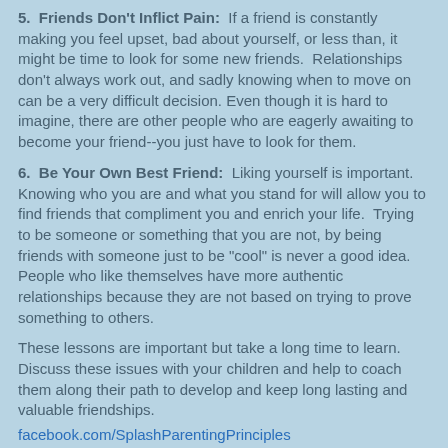5. Friends Don't Inflict Pain: If a friend is constantly making you feel upset, bad about yourself, or less than, it might be time to look for some new friends. Relationships don't always work out, and sadly knowing when to move on can be a very difficult decision. Even though it is hard to imagine, there are other people who are eagerly awaiting to become your friend--you just have to look for them.
6. Be Your Own Best Friend: Liking yourself is important. Knowing who you are and what you stand for will allow you to find friends that compliment you and enrich your life. Trying to be someone or something that you are not, by being friends with someone just to be "cool" is never a good idea. People who like themselves have more authentic relationships because they are not based on trying to prove something to others.
These lessons are important but take a long time to learn. Discuss these issues with your children and help to coach them along their path to develop and keep long lasting and valuable friendships.
facebook.com/SplashParentingPrinciples